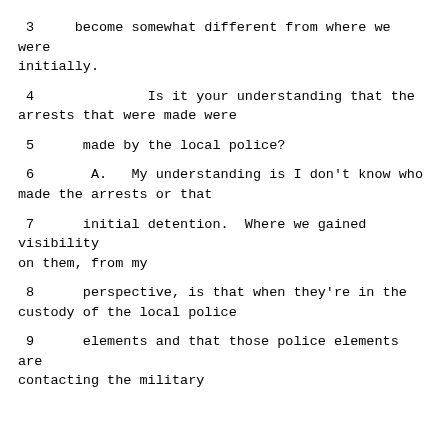3     become somewhat different from where we were initially.
4              Is it your understanding that the arrests that were made were
5      made by the local police?
6       A.   My understanding is I don't know who made the arrests or that
7      initial detention.  Where we gained visibility on them, from my
8      perspective, is that when they're in the custody of the local police
9      elements and that those police elements are contacting the military